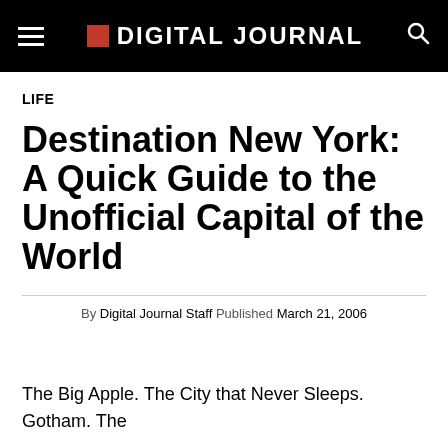DIGITAL JOURNAL
LIFE
Destination New York: A Quick Guide to the Unofficial Capital of the World
By Digital Journal Staff Published March 21, 2006
The Big Apple. The City that Never Sleeps. Gotham. The